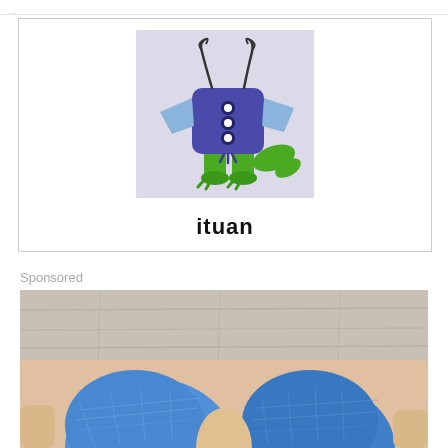[Figure (illustration): A cartoon creature with a dark purple/blue boxy torso body with small circular eyes/buttons and antenna-like squiggles on top, light blue wing-like arms, and green dinosaur-like legs and tail. Drawn on a light purple-grey background square.]
ituan
Sponsored
[Figure (photo): A close-up photo of two human toes or fingers heavily wrapped in blue bandages/gauze, viewed from above looking down, against a light wood floor background.]